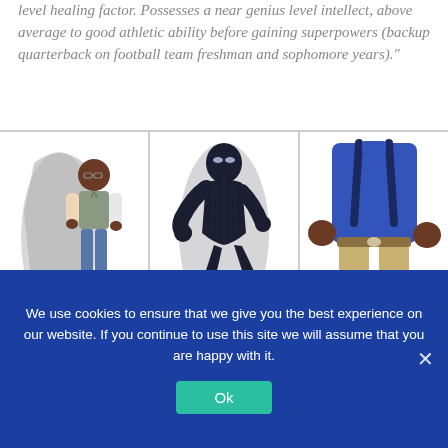level healing factor. Possesses a near genius level intellect, above average to good athletic ability before gaining superpowers (backup quarterback on football team freshman and sophomore years)."
[Figure (illustration): Three comic-style character illustrations side by side. Left: a young Black man in casual clothes with a shadowy figure behind him. Center: a dark armored superhero in a crouching action pose. Right: a figure in a blue shirt and khaki pants, partially visible, kneeling.]
Art By Jamar Logan
Art By Jamar Logan
Art By Jamar Logan
We use cookies to ensure that we give you the best experience on our website. If you continue to use this site we will assume that you are happy with it.